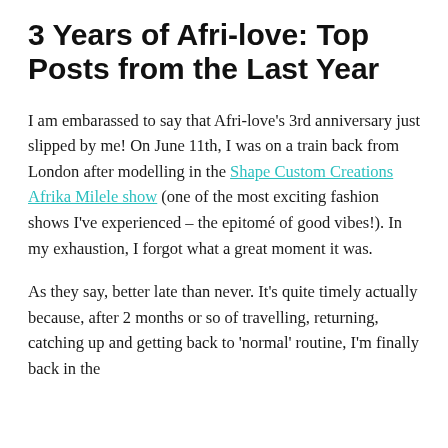3 Years of Afri-love: Top Posts from the Last Year
I am embarassed to say that Afri-love's 3rd anniversary just slipped by me! On June 11th, I was on a train back from London after modelling in the Shape Custom Creations Afrika Milele show (one of the most exciting fashion shows I've experienced – the epitomé of good vibes!). In my exhaustion, I forgot what a great moment it was.
As they say, better late than never. It's quite timely actually because, after 2 months or so of travelling, returning, catching up and getting back to 'normal' routine, I'm finally back in the